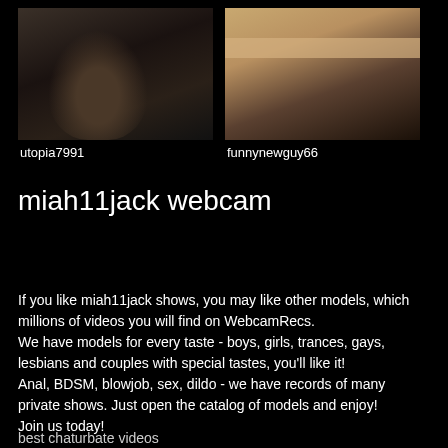[Figure (screenshot): Webcam thumbnail of user utopia7991 — dark room with person's face visible]
utopia7991
[Figure (screenshot): Webcam thumbnail of user funnynewguy66 — bright room with shelf and hand visible]
funnynewguy66
miah11jack webcam
If you like miah11jack shows, you may like other models, which millions of videos you will find on WebcamRecs.
We have models for every taste - boys, girls, trances, gays, lesbians and couples with special tastes, you'll like it!
Anal, BDSM, blowjob, sex, dildo - we have records of many private shows. Just open the catalog of models and enjoy!
Join us today!
best chaturbate videos